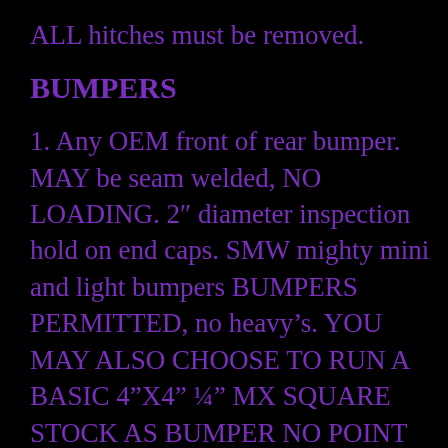ALL hitches must be removed.
BUMPERS
1. Any OEM front of rear bumper. MAY be seam welded, NO LOADING. 2″ diameter inspection hold on end caps. SMW mighty mini and light bumpers BUMPERS PERMITTED, no heavy’s. YOU MAY ALSO CHOOSE TO RUN A BASIC 4”X4” ¼” MX SQUARE STOCK AS BUMPER NO POINT PERMITTED